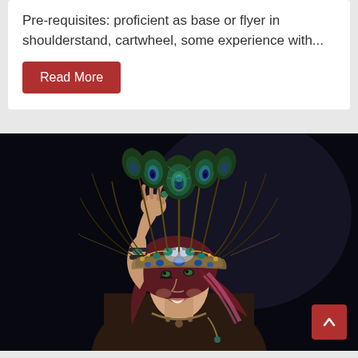Pre-requisites: proficient as base or flyer in shoulderstand, cartwheel, some experience with...
Read More
[Figure (photo): A smiling woman with red-streaked hair wearing an elaborate peacock feather and jeweled headdress/crown, photographed against a dark background. She has her arm raised near her face showing bracelets and rings.]